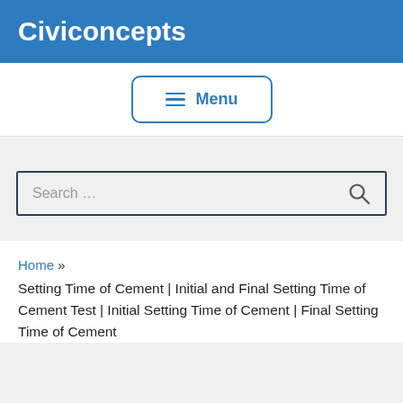Civiconcepts
[Figure (other): Menu navigation button with hamburger icon and 'Menu' text, styled with blue rounded border]
[Figure (other): Search input box with placeholder text 'Search ...' and a search magnifier icon on the right]
Home » Setting Time of Cement | Initial and Final Setting Time of Cement Test | Initial Setting Time of Cement | Final Setting Time of Cement